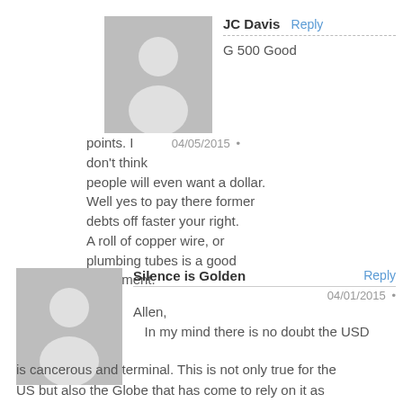[Figure (illustration): Gray placeholder avatar icon for user JC Davis]
JC Davis  Reply
G 500 Good points. I
don't think
people will even want a dollar.
Well yes to pay there former
debts off faster your right.
A roll of copper wire, or
plumbing tubes is a good
investment.
04/05/2015 •
[Figure (illustration): Gray placeholder avatar icon for user Silence is Golden]
Silence is Golden  Reply
04/01/2015 •
Allen,
In my mind there is no doubt the USD is cancerous and terminal. This is not only true for the US but also the Globe that has come to rely on it as the unofficial currency reserve – because of its